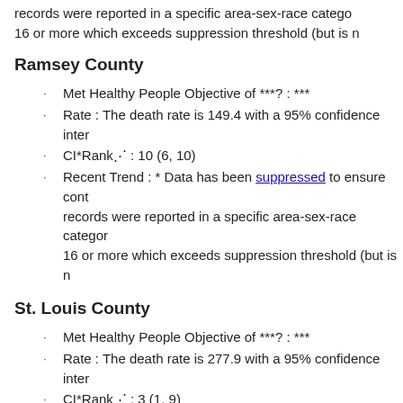records were reported in a specific area-sex-race category. 16 or more which exceeds suppression threshold (but is n
Ramsey County
Met Healthy People Objective of ***?: ***
Rate : The death rate is 149.4 with a 95% confidence inter
CI*Rank⋔ : 10 (6, 10)
Recent Trend : * Data has been suppressed to ensure cont records were reported in a specific area-sex-race category 16 or more which exceeds suppression threshold (but is n
St. Louis County
Met Healthy People Objective of ***?: ***
Rate : The death rate is 277.9 with a 95% confidence inter
CI*Rank⋔ : 3 (1, 9)
Recent Trend : The trend is stable → because the trend is
Aitkin County
Met Healthy People Objective of ***?: ***